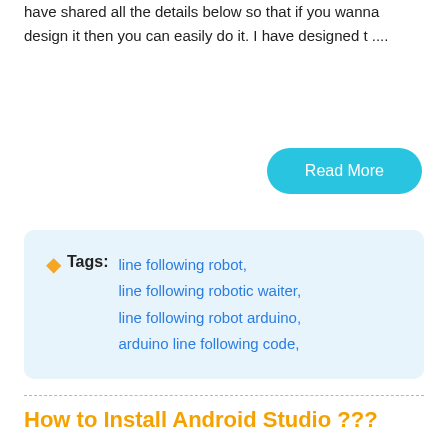have shared all the details below so that if you wanna design it then you can easily do it. I have designed t ....
Read More
Tags: line following robot, line following robotic waiter, line following robot arduino, arduino line following code,
How to Install Android Studio ???